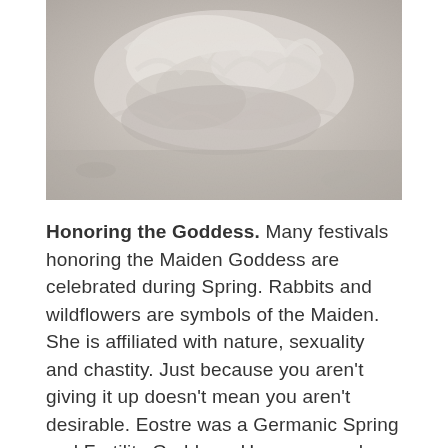[Figure (photo): Close-up photograph of crumpled white fabric or lace on a stone/concrete surface, rendered in muted gray tones.]
Honoring the Goddess. Many festivals honoring the Maiden Goddess are celebrated during Spring. Rabbits and wildflowers are symbols of the Maiden. She is affiliated with nature, sexuality and chastity. Just because you aren't giving it up doesn't mean you aren't desirable. Eostre was a Germanic Spring and Fertility Goddess. Her name and festival was appropriated into the Christian festival Easter, where she was celebrated during the fourth